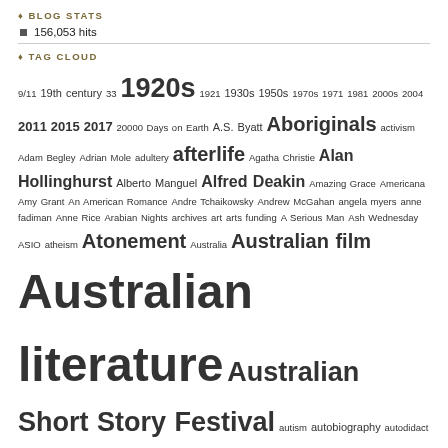BLOG STATS
156,053 hits
TAG CLOUD
9/11 19th century 33 1920s 1921 1930s 1950s 1970s 1971 1981 2000s 2004 2011 2015 2017 20000 Days on Earth A.S. Byatt Aboriginals activism Adam Begley Adrian Mole adultery afterlife Agatha Christie Alan Hollinghurst Alberto Manguel Alfred Deakin Amazing Grace Americana Amy Grant An American Romance Andre Tchaikowsky Andrew McGahan angela myers anne fadiman Anne Rice Arabian Nights archives art arts funding A Serious Man Ash Wednesday ASIO atheism Atonement Australia Australian film Australian literature Australian Short Story Festival autism autobiography autodidact Barbara Vine beach Belle Costa da Greene Bell Jar best best-of Bible Big Issue Bill Callahan biographical ethics biographical quest genre biographies birthday birthdays Black Opal Bleak House Blinky Bill blogging blogs Blue Blades Bodega's Bunch bog Booker book launch booksale Borges Brenda Niall Brian Matthews Brian McLaren Britney Spears Burial Rites Burke and Wills buskers C.S. Lewis C.S. Lewis canon capitalism Carol Shields Carson McCullers Catcher in the Rye Catholicism celebrities Charles Dickens